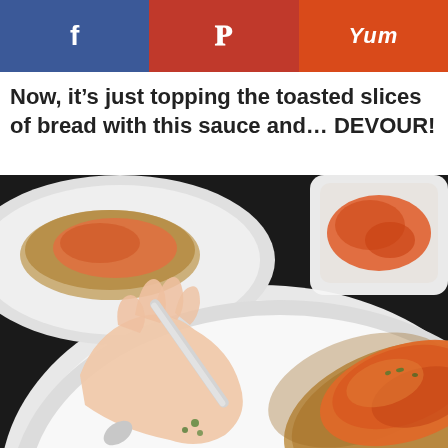f  p  Yum
Now, it’s just topping the toasted slices of bread with this sauce and… DEVOUR!
[Figure (photo): A hand spreading orange tomato sauce on toasted bread slices on a white plate, with a bowl of sauce and more bread in the background on a dark surface.]